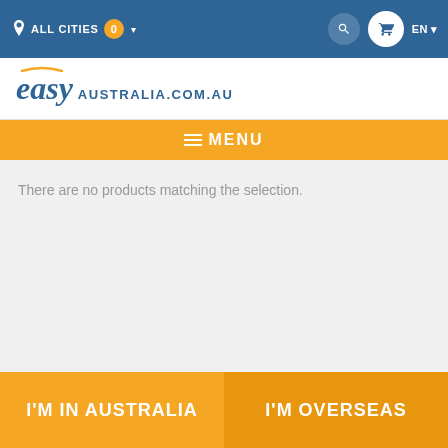ALL CITIES 0 ▾   EN ▾
[Figure (logo): easy AUSTRALIA.COM.AU logo with arc above 'easy' in italic serif font and blue sans-serif domain text]
≡ MENU
There are no products matching the selection.
I'M IN AUSTRALIA
I'M OVERSEAS